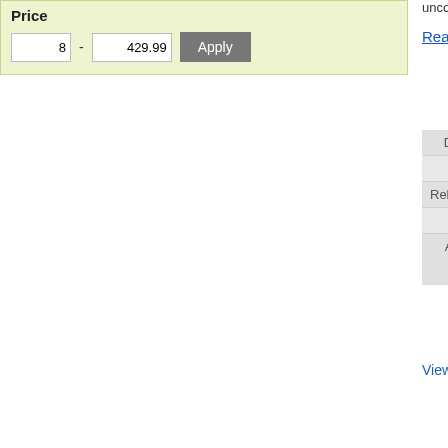Price
8 - 429.99 Apply
unconditionally and beca...
Read more
|  |  |
| --- | --- |
| DVD Code | VVE29... |
| Barcode | 93373... |
| Released NZ | 9 Jun 2... |
| Publisher | Madma... |
| Availability | Availa... ships... |
View details for this t...
[Figure (other): M rating badge with DVD logo and FS label]
Flee (DVD, M)
FLEE tells the remarkab... grapples with a painful se... threatens to derail the life... in Demark.
|  |  |
| --- | --- |
| DVD Code | MMA69... |